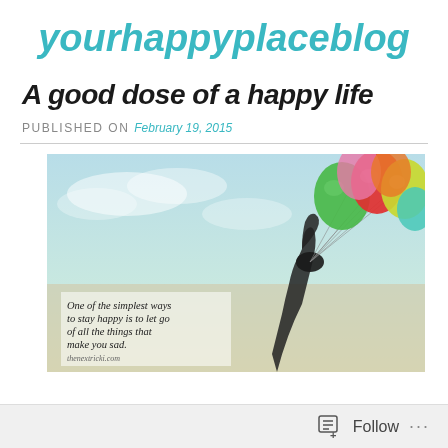yourhappyplaceblog
A good dose of a happy life
PUBLISHED ON February 19, 2015
[Figure (photo): Person holding colorful balloons (green, red, yellow, pink) in the sky with text overlay: 'One of the simplest ways to stay happy is to let go of all the things that make you sad.']
Follow ...